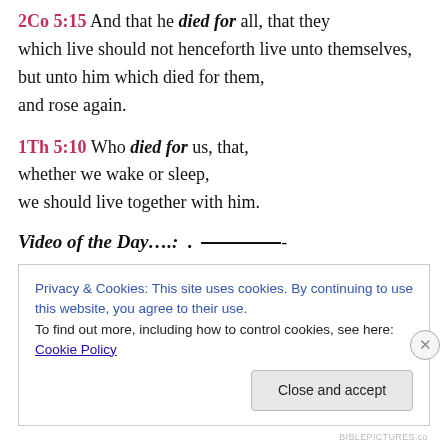2Co 5:15 And that he died for all, that they which live should not henceforth live unto themselves, but unto him which died for them, and rose again.
1Th 5:10 Who died for us, that, whether we wake or sleep, we should live together with him.
Video of the Day….: . ————-
Privacy & Cookies: This site uses cookies. By continuing to use this website, you agree to their use. To find out more, including how to control cookies, see here: Cookie Policy
Close and accept